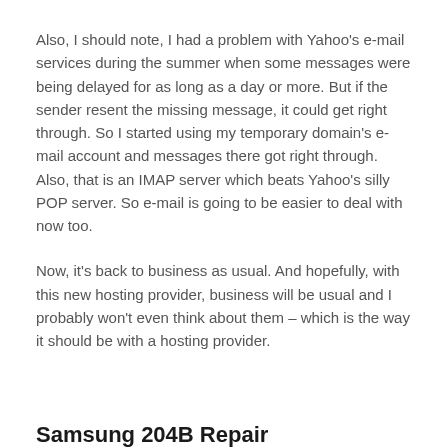Also, I should note, I had a problem with Yahoo's e-mail services during the summer when some messages were being delayed for as long as a day or more.  But if the sender resent the missing message, it could get right through.  So I started using my temporary domain's e-mail account and messages there got right through.  Also, that is an IMAP server which beats Yahoo's silly POP server.  So e-mail is going to be easier to deal with now too.
Now, it's back to business as usual.  And hopefully, with this new hosting provider, business will be usual and I probably won't even think about them – which is the way it should be with a hosting provider.
Samsung 204B Repair
12-Jul-2011 • Admin • by Ken